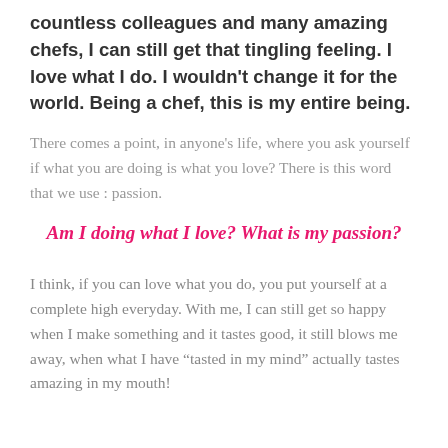countless colleagues and many amazing chefs, I can still get that tingling feeling. I love what I do. I wouldn't change it for the world. Being a chef, this is my entire being.
There comes a point, in anyone's life, where you ask yourself if what you are doing is what you love? There is this word that we use : passion.
Am I doing what I love? What is my passion?
I think, if you can love what you do, you put yourself at a complete high everyday. With me, I can still get so happy when I make something and it tastes good, it still blows me away, when what I have “tasted in my mind” actually tastes amazing in my mouth!